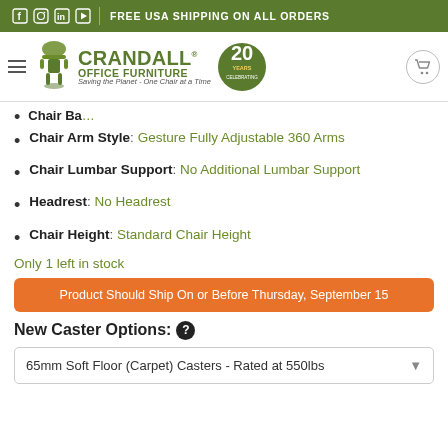FREE USA SHIPPING ON ALL ORDERS
[Figure (logo): Crandall Office Furniture logo with chair icon, 20 Years Celebrating badge, and tagline 'Saving the Planet - One Chair at a Time']
Chair Arm Style: Gesture Fully Adjustable 360 Arms
Chair Lumbar Support: No Additional Lumbar Support
Headrest: No Headrest
Chair Height: Standard Chair Height
Only 1 left in stock
Product Should Ship On or Before Thursday, September 15
New Caster Options:
65mm Soft Floor (Carpet) Casters - Rated at 550lbs